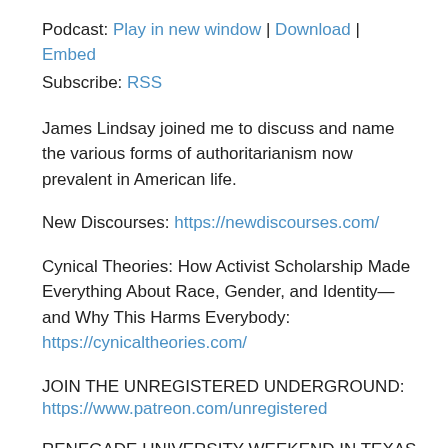Podcast: Play in new window | Download | Embed
Subscribe: RSS
James Lindsay joined me to discuss and name the various forms of authoritarianism now prevalent in American life.
New Discourses: https://newdiscourses.com/
Cynical Theories: How Activist Scholarship Made Everything About Race, Gender, and Identity—and Why This Harms Everybody:
https://cynicaltheories.com/
JOIN THE UNREGISTERED UNDERGROUND:
https://www.patreon.com/unregistered
RENEGADE UNIVERSITY WEEKEND IN TEXAS
Featuring Scott Horton, Hotep Jesus, Cody Wilson,